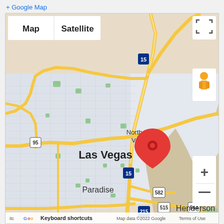+ Google Map
[Figure (map): Google Map screenshot showing Las Vegas, Nevada area with a red location pin in North Las Vegas area. Map shows Las Vegas, North Las Vegas, Paradise, Henderson neighborhoods with major highways including I-15, US-95, I-215, routes 582, 515, 564. Controls include Map/Satellite toggle, fullscreen button, Street View pegman, zoom in/out buttons. Footer shows Keyboard shortcuts, Map data ©2022 Google, Terms of Use.]